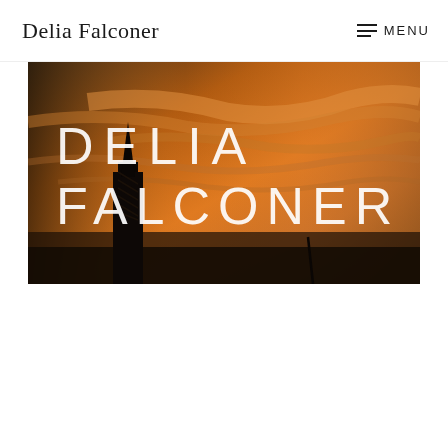Delia Falconer  ≡ MENU
[Figure (photo): Hero banner image showing a dramatic orange sunset sky with streaked clouds, silhouette of a tall tower/spire on the left side, and white text overlay reading 'DELIA FALCONER' in two lines in a lightweight sans-serif font.]